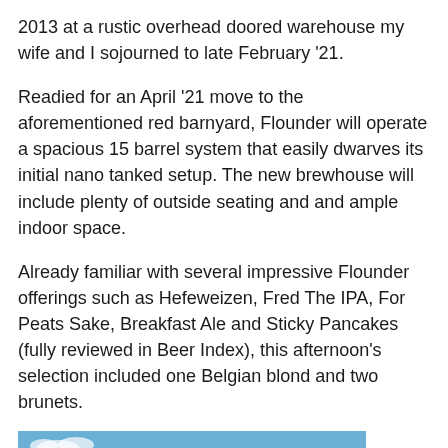2013 at a rustic overhead doored warehouse my wife and I sojourned to late February '21.
Readied for an April '21 move to the aforementioned red barnyard, Flounder will operate a spacious 15 barrel system that easily dwarves its initial nano tanked setup. The new brewhouse will include plenty of outside seating and and ample indoor space.
Already familiar with several impressive Flounder offerings such as Hefeweizen, Fred The IPA, For Peats Sake, Breakfast Ale and Sticky Pancakes (fully reviewed in Beer Index), this afternoon's selection included one Belgian blond and two brunets.
[Figure (photo): Exterior photo of a modern warehouse/brewhouse building with white walls, brown overhead doors, and a blue sky background.]